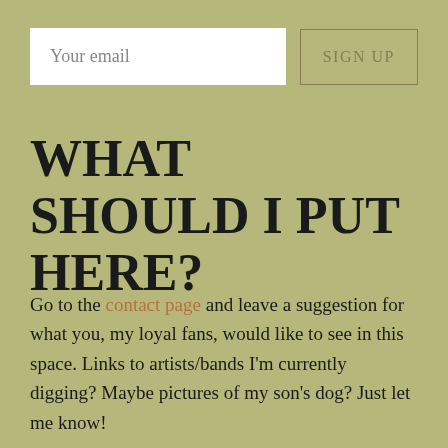[Figure (screenshot): Email newsletter signup bar with 'Your email' input field and 'SIGN UP' button]
WHAT SHOULD I PUT HERE?
Go to the contact page and leave a suggestion for what you, my loyal fans, would like to see in this space. Links to artists/bands I'm currently digging? Maybe pictures of my son's dog? Just let me know!